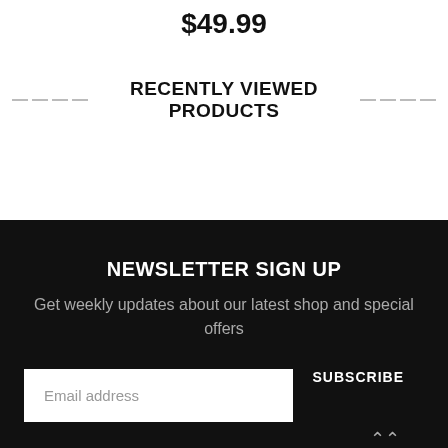$49.99
RECENTLY VIEWED PRODUCTS
NEWSLETTER SIGN UP
Get weekly updates about our latest shop and special offers
Email address
SUBSCRIBE